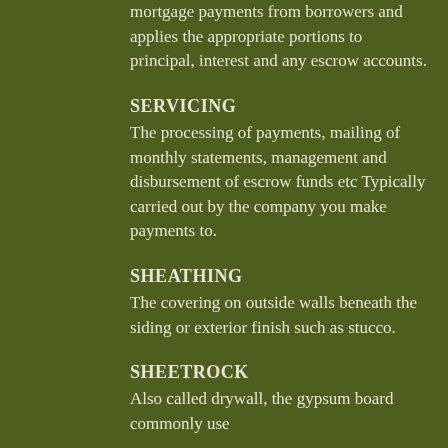mortgage payments from borrowers and applies the appropriate portions to principal, interest and any escrow accounts.
SERVICING
The processing of payments, mailing of monthly statements, management and disbursement of escrow funds etc Typically carried out by the company you make payments to.
SHEATHING
The covering on outside walls beneath the siding or exterior finish such as stucco.
SHEETROCK
Also called drywall, the gypsum board commonly used on interior walls...